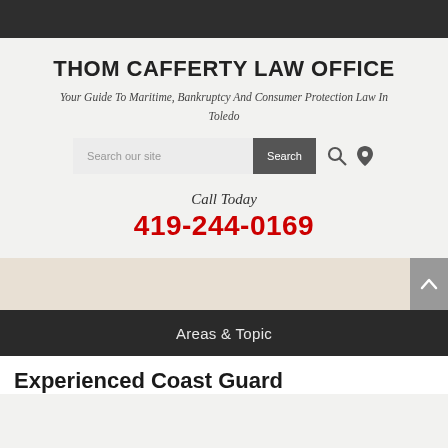THOM CAFFERTY LAW OFFICE
Your Guide To Maritime, Bankruptcy And Consumer Protection Law In Toledo
[Figure (screenshot): Search bar with text 'Search our site', a dark Search button, and icons for search and location pin]
Call Today
419-244-0169
Areas & Topic
Experienced Coast Guard